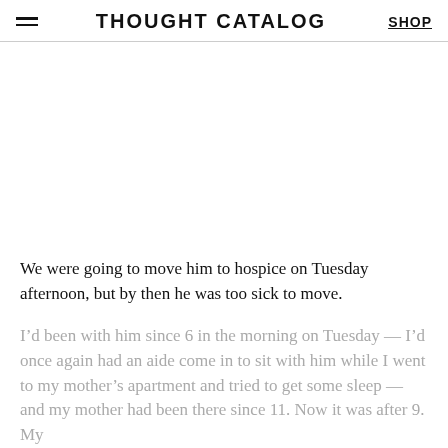THOUGHT CATALOG | SHOP
We were going to move him to hospice on Tuesday afternoon, but by then he was too sick to move.
I’d been with him since 6 in the morning on Tuesday — I’d once again had an aide come in to sit with him while I went to my mother’s apartment and tried to get some sleep — and my mother had been there since 11. Now it was after 9. My